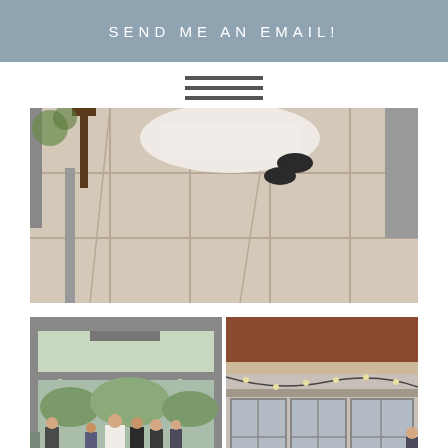SEND ME AN EMAIL!
[Figure (other): Hamburger menu icon with three horizontal lines]
[Figure (photo): Wedding photo showing bottom of bride's white dress and groom's black shoes walking on large light-colored tile floor with structural columns visible]
[Figure (photo): Two side-by-side wedding photos: left shows wedding party gathered under a modern pergola structure outdoors; right shows exterior building view with string lights and wooden roof overhang]